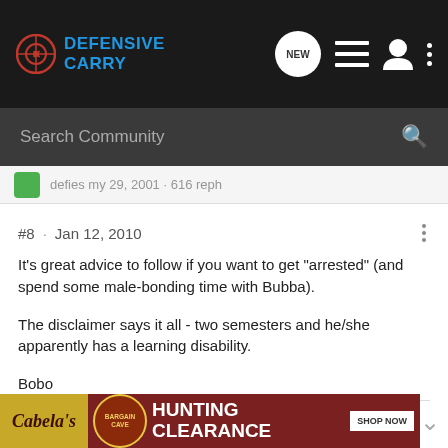[Figure (logo): Defensive Carry website logo and navigation bar with search field]
Jan 12, 2010
It's great advice to follow if you want to get "arrested" (and spend some male-bonding time with Bubba).

The disclaimer says it all - two semesters and he/she apparently has a learning disability.

Bobo
Our Constitution was made only for moral and religious people. It...er"
[Figure (other): Cabela's Bargain Cave Hunting Clearance Shop Now advertisement banner]